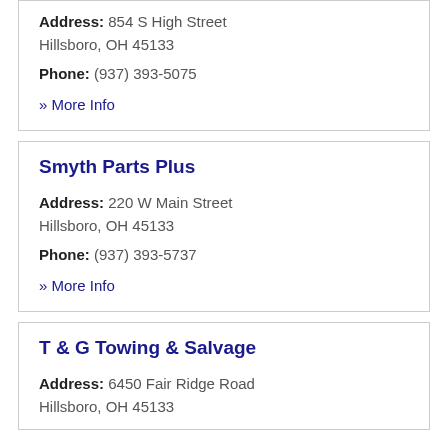Address: 854 S High Street Hillsboro, OH 45133
Phone: (937) 393-5075
» More Info
Smyth Parts Plus
Address: 220 W Main Street Hillsboro, OH 45133
Phone: (937) 393-5737
» More Info
T & G Towing & Salvage
Address: 6450 Fair Ridge Road Hillsboro, OH 45133